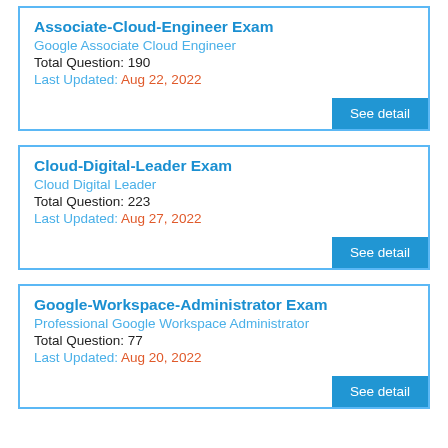Associate-Cloud-Engineer Exam
Google Associate Cloud Engineer
Total Question: 190
Last Updated: Aug 22, 2022
See detail
Cloud-Digital-Leader Exam
Cloud Digital Leader
Total Question: 223
Last Updated: Aug 27, 2022
See detail
Google-Workspace-Administrator Exam
Professional Google Workspace Administrator
Total Question: 77
Last Updated: Aug 20, 2022
See detail